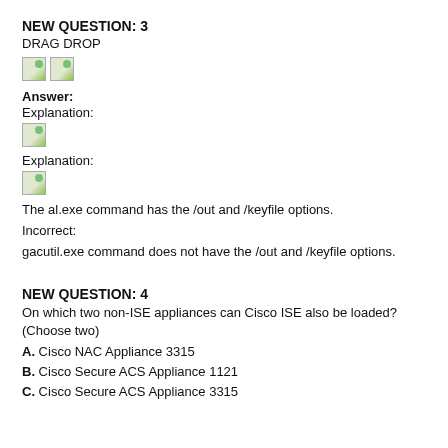NEW QUESTION: 3
DRAG DROP
[Figure (illustration): Two broken image placeholders (drag-drop images)]
Answer:
Explanation:
[Figure (illustration): One broken image placeholder (explanation image)]
Explanation:
[Figure (illustration): One broken image placeholder (explanation image 2)]
The al.exe command has the /out and /keyfile options.
Incorrect:
gacutil.exe command does not have the /out and /keyfile options.
NEW QUESTION: 4
On which two non-ISE appliances can Cisco ISE also be loaded? (Choose two)
A. Cisco NAC Appliance 3315
B. Cisco Secure ACS Appliance 1121
C. Cisco Secure ACS Appliance 3315